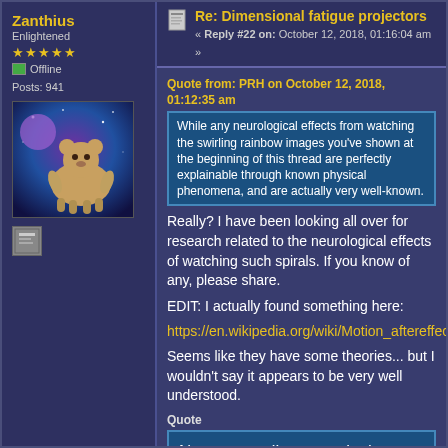Zanthius
Enlightened
★★★★★
Offline
Posts: 941
[Figure (photo): Avatar image of a tardigrade/bear creature on a purple cosmic background]
[Figure (illustration): Small thumbtack/pin icon]
Re: Dimensional fatigue projectors
« Reply #22 on: October 12, 2018, 01:16:04 am »
Quote from: PRH on October 12, 2018, 01:12:35 am
While any neurological effects from watching the swirling rainbow images you've shown at the beginning of this thread are perfectly explainable through known physical phenomena, and are actually very well-known.
Really? I have been looking all over for research related to the neurological effects of watching such spirals. If you know of any, please share.
EDIT: I actually found something here:
https://en.wikipedia.org/wiki/Motion_aftereffect
Seems like they have some theories... but I wouldn't say it appears to be very well understood.
Quote
Neurons coding a particular movement reduce their responses with time of exposure to a constantly moving stimulus; this is neural adaptation. Neural adaptation also reduces the spontaneous, baseline activity of these same neurons when responding to a stationary stimulus (see, for example, Barlow